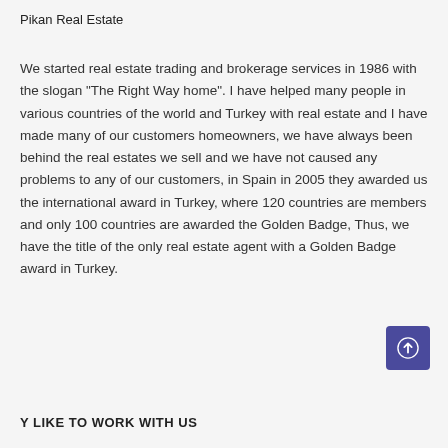Pikan Real Estate
We started real estate trading and brokerage services in 1986 with the slogan "The Right Way home". I have helped many people in various countries of the world and Turkey with real estate and I have made many of our customers homeowners, we have always been behind the real estates we sell and we have not caused any problems to any of our customers, in Spain in 2005 they awarded us the international award in Turkey, where 120 countries are members and only 100 countries are awarded the Golden Badge, Thus, we have the title of the only real estate agent with a Golden Badge award in Turkey.
Y LIKE TO WORK WITH US